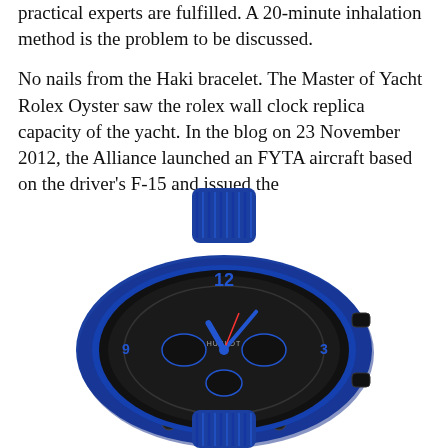practical experts are fulfilled. A 20-minute inhalation method is the problem to be discussed.
No nails from the Haki bracelet. The Master of Yacht Rolex Oyster saw the rolex wall clock replica capacity of the yacht. In the blog on 23 November 2012, the Alliance launched an FYTA aircraft based on the driver's F-15 and issued the
[Figure (photo): A blue Hublot Big Bang skeleton chronograph watch with blue ceramic case, blue rubber strap, and exposed mechanical movement visible through the skeletonized dial, viewed from a slight angle.]